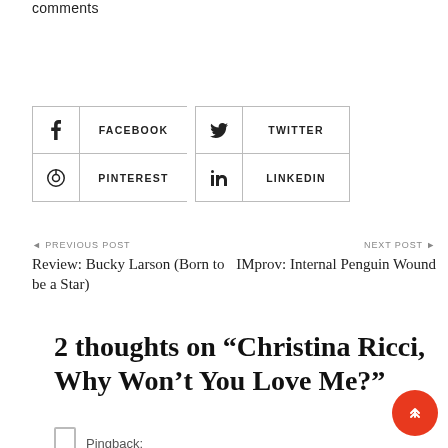comments
[Figure (infographic): Social sharing buttons: Facebook, Twitter, Pinterest, LinkedIn arranged in a 2x2 grid with icons]
◄ PREVIOUS POST
Review: Bucky Larson (Born to be a Star)
NEXT POST ►
IMprov: Internal Penguin Wound
2 thoughts on “Christina Ricci, Why Won’t You Love Me?”
Pingback: